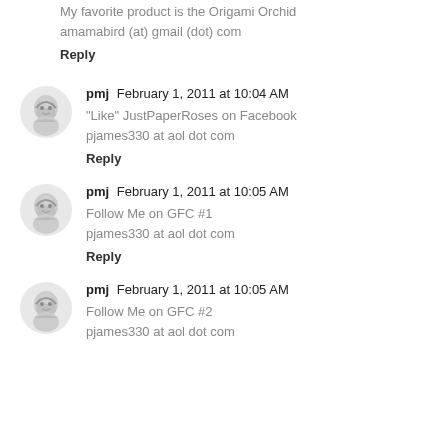My favorite product is the Origami Orchid
amamabird (at) gmail (dot) com
Reply
[Figure (illustration): Anime-style grayscale avatar of a girl]
pmj  February 1, 2011 at 10:04 AM
"Like" JustPaperRoses on Facebook
pjames330 at aol dot com
Reply
[Figure (illustration): Anime-style grayscale avatar of a girl]
pmj  February 1, 2011 at 10:05 AM
Follow Me on GFC #1
pjames330 at aol dot com
Reply
[Figure (illustration): Anime-style grayscale avatar of a girl]
pmj  February 1, 2011 at 10:05 AM
Follow Me on GFC #2
pjames330 at aol dot com